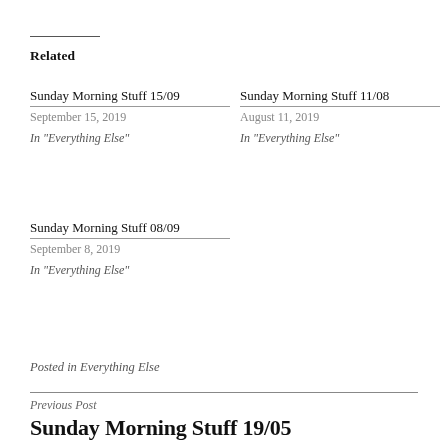Related
Sunday Morning Stuff 15/09
September 15, 2019
In "Everything Else"
Sunday Morning Stuff 11/08
August 11, 2019
In "Everything Else"
Sunday Morning Stuff 08/09
September 8, 2019
In "Everything Else"
Posted in Everything Else
Previous Post
Sunday Morning Stuff 19/05